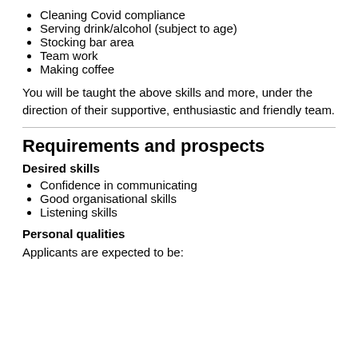Cleaning Covid compliance
Serving drink/alcohol (subject to age)
Stocking bar area
Team work
Making coffee
You will be taught the above skills and more, under the direction of their supportive, enthusiastic and friendly team.
Requirements and prospects
Desired skills
Confidence in communicating
Good organisational skills
Listening skills
Personal qualities
Applicants are expected to be: